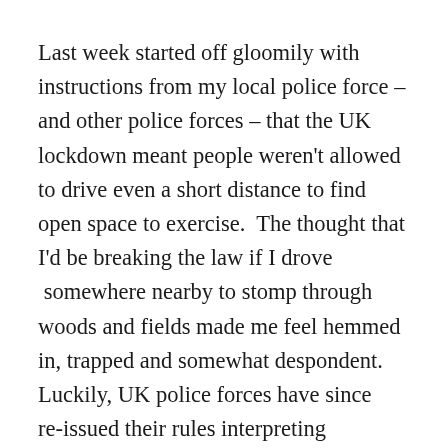Last week started off gloomily with instructions from my local police force – and other police forces – that the UK lockdown meant people weren't allowed to drive even a short distance to find open space to exercise.  The thought that I'd be breaking the law if I drove  somewhere nearby to stomp through woods and fields made me feel hemmed in, trapped and somewhat despondent. Luckily, UK police forces have since re-issued their rules interpreting government guidelines, and a short drive to access open, green space is no longer deemed a criminal activity.  The problem arose in the first place from poor communication from the government.  What did they mean by 'local'? Never has the use of clear